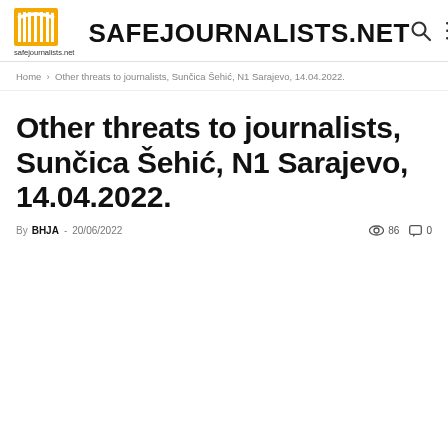SAFEJOURNALISTS.NET — safejournalists.net
Home › Other threats to journalists, Sunčica Šehić, N1 Sarajevo, 14.04.2022.
Other threats to journalists, Sunčica Šehić, N1 Sarajevo, 14.04.2022.
By BHJA - 20/06/2022  👁 86  💬 0